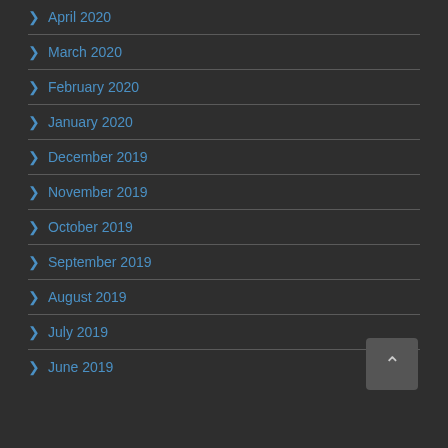April 2020
March 2020
February 2020
January 2020
December 2019
November 2019
October 2019
September 2019
August 2019
July 2019
June 2019